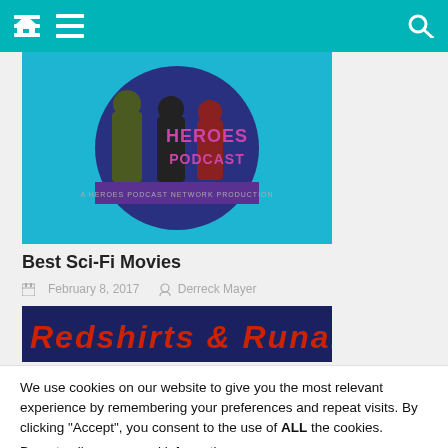Navigation bar with home, menu, and search icons
[Figure (illustration): Heroes Podcast circular logo on blue background with illustrated figures]
Best Sci-Fi Movies
February 8, 2017  Derreck Mayer
[Figure (illustration): Redshirts & Runabouts title logo on dark navy background in red italic text]
We use cookies on our website to give you the most relevant experience by remembering your preferences and repeat visits. By clicking “Accept”, you consent to the use of ALL the cookies.
Do not sell my personal information.
Cookie settings  ACCEPT